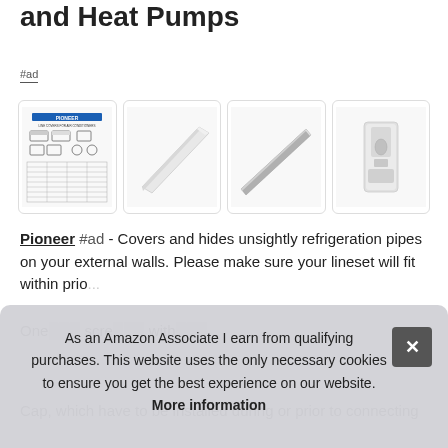and Heat Pumps
#ad
[Figure (photo): Four product images of Pioneer line set cover/duct components: technical diagram sheet, white lineset cover channel piece, silver/grey lineset pipe, and white wall cap bracket]
Pioneer #ad - Covers and hides unsightly refrigeration pipes on your external walls. Please make sure your lineset will fit within prio...
One... scre... with...
Cap, which have to be installed during or prior to connecting
As an Amazon Associate I earn from qualifying purchases. This website uses the only necessary cookies to ensure you get the best experience on our website. More information